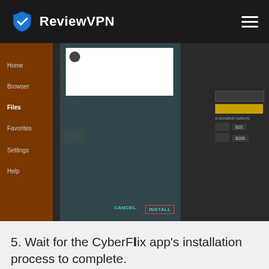ReviewVPN
[Figure (screenshot): Android file manager app screenshot showing a download dialog with CANCEL and INSTALL buttons. The dialog is overlaid on a dark-themed file manager app with a brown sidebar containing Home, Browser, Files, Favorites, Settings, Help menu items. The main area shows Status and File download fields with an Install button. A dialog box with a white top section and teal-colored bottom shows CANCEL and INSTALL buttons, with INSTALL highlighted in a red border.]
5. Wait for the CyberFlix app's installation process to complete.